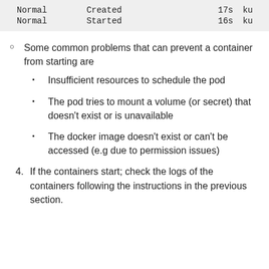| Normal | Created | 17s | ku |
| Normal | Started | 16s | ku |
Some common problems that can prevent a container from starting are
Insufficient resources to schedule the pod
The pod tries to mount a volume (or secret) that doesn’t exist or is unavailable
The docker image doesn’t exist or can’t be accessed (e.g due to permission issues)
4. If the containers start; check the logs of the containers following the instructions in the previous section.